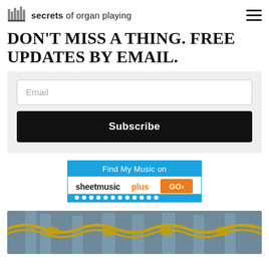secrets of organ playing
DON'T MISS A THING. FREE UPDATES BY EMAIL.
Email
Subscribe
[Figure (infographic): Sheet Music Plus advertisement banner: 'Find My Music on sheetmusicplus GO>' with blue top bar and orange GO button]
[Figure (photo): Photograph of ornate organ pipes with blue-grey and gold baroque decorative elements]